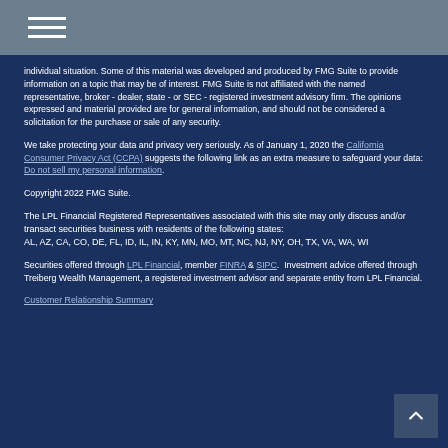Navigation menu icon
individual situation. Some of this material was developed and produced by FMG Suite to provide information on a topic that may be of interest. FMG Suite is not affiliated with the named representative, broker - dealer, state - or SEC - registered investment advisory firm. The opinions expressed and material provided are for general information, and should not be considered a solicitation for the purchase or sale of any security.
We take protecting your data and privacy very seriously. As of January 1, 2020 the California Consumer Privacy Act (CCPA) suggests the following link as an extra measure to safeguard your data: Do not sell my personal information.
Copyright 2022 FMG Suite.
The LPL Financial Registered Representatives associated with this site may only discuss and/or transact securities business with residents of the following states: AL, AZ, CA, CO, DE, FL, ID, IL, IN, KY, MN, MO, MT, NC, NJ, NY, OH, TX, VA, WA, WI
Securities offered through LPL Financial, member FINRA & SIPC. Investment advice offered through Treiberg Wealth Management, a registered investment advisor and separate entity from LPL Financial.
Customer Relationship Summary